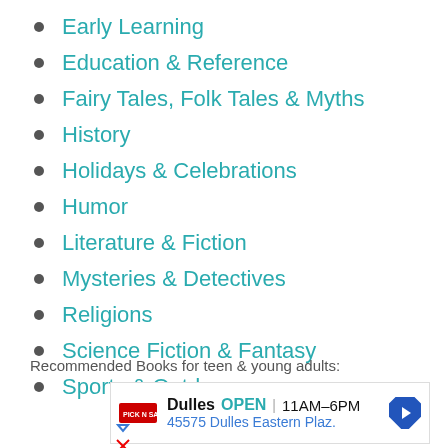Early Learning
Education & Reference
Fairy Tales, Folk Tales & Myths
History
Holidays & Celebrations
Humor
Literature & Fiction
Mysteries & Detectives
Religions
Science Fiction & Fantasy
Sports & Outdoors
Recommended Books for teen & young adults:
[Figure (other): Advertisement banner for Dulles store: OPEN 11AM-6PM, 45575 Dulles Eastern Plaz.]